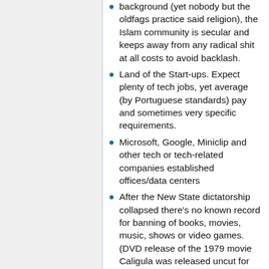background (yet nobody but the oldfags practice said religion), the Islam community is secular and keeps away from any radical shit at all costs to avoid backlash.
Land of the Start-ups. Expect plenty of tech jobs, yet average (by Portuguese standards) pay and sometimes very specific requirements.
Microsoft, Google, Miniclip and other tech or tech-related companies established offices/data centers
After the New State dictatorship collapsed there's no known record for banning of books, movies, music, shows or video games. (DVD release of the 1979 movie Caligula was released uncut for audiences 18 and older)